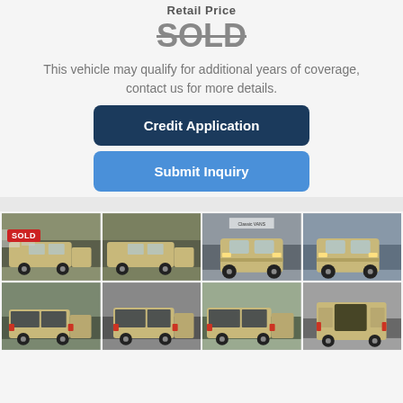Retail Price
SOLD
This vehicle may qualify for additional years of coverage, contact us for more details.
Credit Application
Submit Inquiry
[Figure (photo): Grid of 8 photos of a gold/tan Chevrolet Express van at a dealership lot, first image has a red SOLD badge overlay. Photos show front 3/4, side, front, and rear views.]